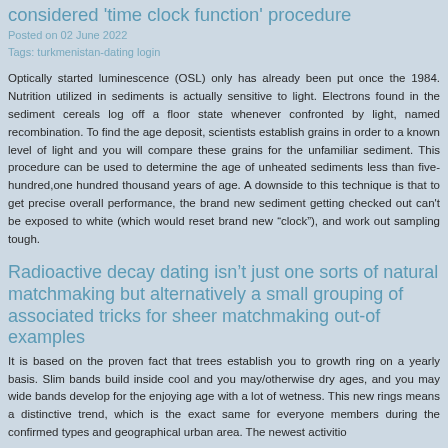considered 'time clock function' procedure
Posted on 02 June 2022
Tags: turkmenistan-dating login
Optically started luminescence (OSL) only has already been put once the 1984. Nutrition utilized in sediments is actually sensitive to light. Electrons found in the sediment cereals log off a floor state whenever confronted by light, named recombination. To find the age deposit, scientists establish grains in order to a known level of light and you will compare these grains for the unfamiliar sediment. This procedure can be used to determine the age of unheated sediments less than five-hundred,one hundred thousand years of age. A downside to this technique is that to get precise overall performance, the brand new sediment getting checked out can't be exposed to white (which would reset brand new “clock”), and work out sampling tough.
Radioactive decay dating isn’t just one sorts of natural matchmaking but alternatively a small grouping of associated tricks for sheer matchmaking out-of examples
It is based on the proven fact that trees establish you to growth ring on a yearly basis. Slim bands build inside cool and you may/otherwise dry ages, and you may wide bands develop for the enjoying age with a lot of wetness. This new rings means a distinctive trend, which is the exact same for everyone members during the confirmed types and geographical urban area. The newest activitio